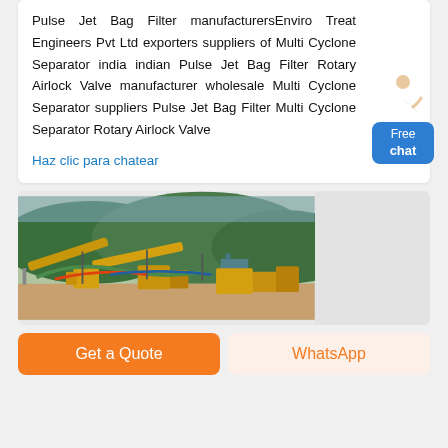Pulse Jet Bag Filter manufacturersEnviro Treat Engineers Pvt Ltd exporters suppliers of Multi Cyclone Separator india indian Pulse Jet Bag Filter Rotary Airlock Valve manufacturer wholesale Multi Cyclone Separator suppliers Pulse Jet Bag Filter Multi Cyclone Separator Rotary Airlock Valve
Haz clic para chatear
[Figure (photo): Industrial mining/crushing plant with yellow machinery and conveyor belts, surrounded by green hills and trees in the background.]
Get a Quote
WhatsApp